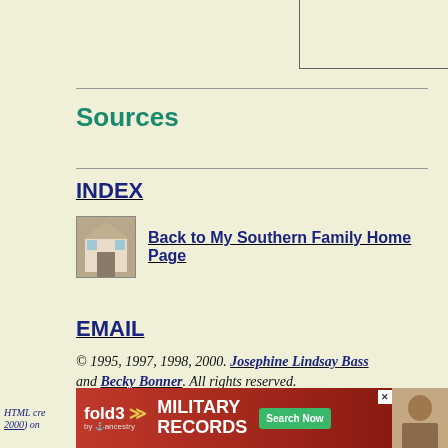Sources
INDEX
Back to My Southern Family Home Page
EMAIL
© 1995, 1997, 1998, 2000.  Josephine Lindsay Bass and Becky Bonner.   All rights reserved.
[Figure (other): fold3 by Ancestry - Military Records advertisement banner with Search Now button]
HTML cre... 2000) on